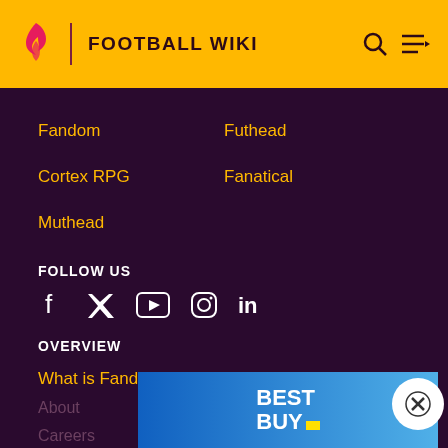FOOTBALL WIKI
Fandom
Futhead
Cortex RPG
Fanatical
Muthead
FOLLOW US
[Figure (other): Social media icons: Facebook, Twitter, YouTube, Instagram, LinkedIn]
OVERVIEW
What is Fandom?
Terms of Use
About
Careers
[Figure (logo): Best Buy advertisement banner with blue gradient background and white BEST BUY text with yellow tag logo]